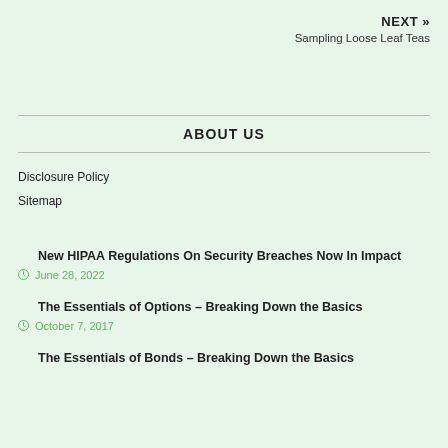NEXT » Sampling Loose Leaf Teas
ABOUT US
Disclosure Policy
Sitemap
New HIPAA Regulations On Security Breaches Now In Impact
June 28, 2022
The Essentials of Options – Breaking Down the Basics
October 7, 2017
The Essentials of Bonds – Breaking Down the Basics